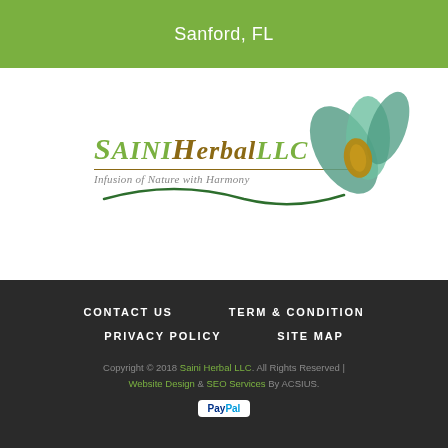Sanford, FL
[Figure (logo): Saini Herbal LLC logo with leaf illustrations and tagline 'Infusion of Nature with Harmony']
CONTACT US
TERM & CONDITION
PRIVACY POLICY
SITE MAP
Copyright © 2018 Saini Herbal LLC. All Rights Reserved | Website Design & SEO Services By ACSIUS.